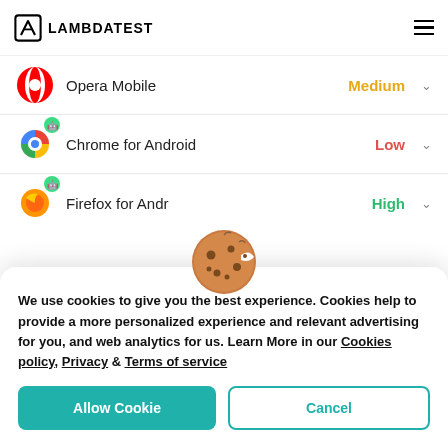LAMBDATEST
Opera Mobile - Medium
Chrome for Android - Low
Firefox for Android - High
We use cookies to give you the best experience. Cookies help to provide a more personalized experience and relevant advertising for you, and web analytics for us. Learn More in our Cookies policy, Privacy & Terms of service
Allow Cookie
Cancel